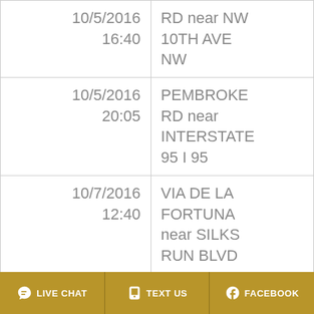| Date/Time | Location |
| --- | --- |
| 10/5/2016
16:40 | RD near NW 10TH AVE NW |
| 10/5/2016
20:05 | PEMBROKE RD near INTERSTATE 95 I 95 |
| 10/7/2016
12:40 | VIA DE LA FORTUNA near SILKS RUN BLVD |
|  | PEMBROKE |
LIVE CHAT   TEXT US   FACEBOOK